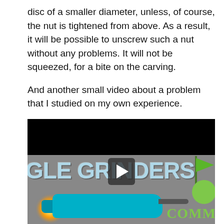disc of a smaller diameter, unless, of course, the nut is tightened from above. As a result, it will be possible to unscrew such a nut without any problems. It will not be squeezed, for a bite on the carving.
And another small video about a problem that I studied on my own experience.
[Figure (screenshot): Video thumbnail showing angle grinders with text 'IGLE GRINDERS' in large light blue letters on a gray background, a teal/turquoise angle grinder with sparks, a green flag icon, a green circle logo, and 'COMM' text in green. A play button is overlaid in the center.]